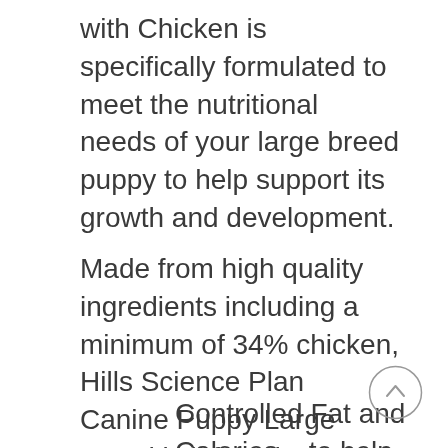with Chicken is specifically formulated to meet the nutritional needs of your large breed puppy to help support its growth and development.
Made from high quality ingredients including a minimum of 34% chicken, Hills Science Plan Canine Puppy Large Breed is infused with:
Controlled Fat and Calories – to help